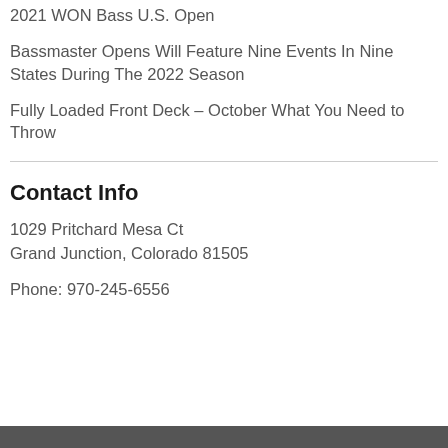2021 WON Bass U.S. Open
Bassmaster Opens Will Feature Nine Events In Nine States During The 2022 Season
Fully Loaded Front Deck – October What You Need to Throw
Contact Info
1029 Pritchard Mesa Ct
Grand Junction, Colorado 81505
Phone: 970-245-6556